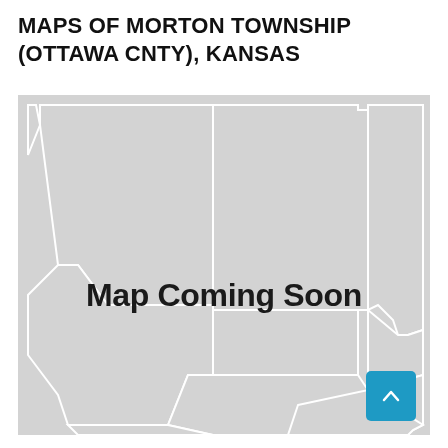MAPS OF MORTON TOWNSHIP (OTTAWA CNTY), KANSAS
[Figure (map): A placeholder map showing US states in gray with white borders, representing the region around Morton Township, Ottawa County, Kansas. The map displays text 'Map Coming Soon' overlaid on the center. A teal scroll-to-top button appears in the bottom right corner.]